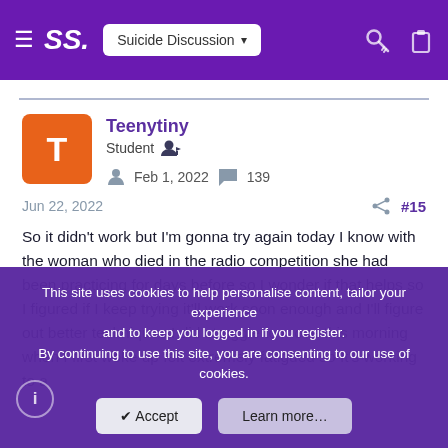SS. | Suicide Discussion
Teenytiny
Student
Feb 1, 2022  139
Jun 22, 2022  #15
So it didn't work but I'm gonna try again today I know with the woman who died in the radio competition she had been practicing for days before so I wonder if that helps so I figured if I keep trying it'll work soon enough and I'll figure out better techniques I did struggle to move this morning when I first woke up felt extremely fatigued so It's working to a
This site uses cookies to help personalise content, tailor your experience and to keep you logged in if you register.
By continuing to use this site, you are consenting to our use of cookies.